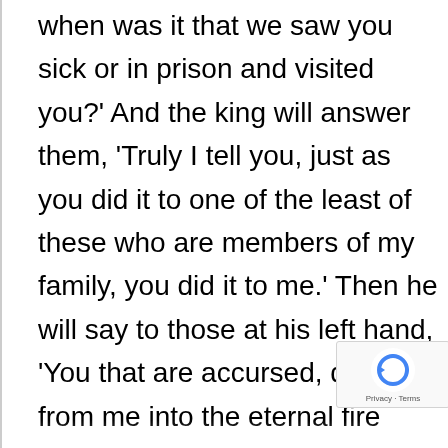when was it that we saw you sick or in prison and visited you?' And the king will answer them, 'Truly I tell you, just as you did it to one of the least of these who are members of my family, you did it to me.' Then he will say to those at his left hand, 'You that are accursed, depart from me into the eternal fire prepared for the devil and his angels; for I was hungry and you gave me no food, I was thirsty and you gave me nothing to drink, I was a stranger and you did not welcome me, naked and you did not give me clothing, sick and in prison and you did not visit me.' Then also will answer, 'Lord, when was it that saw you hungry or thirsty or a stranger or
[Figure (other): reCAPTCHA badge with circular arrow logo and 'Privacy - Terms' text]